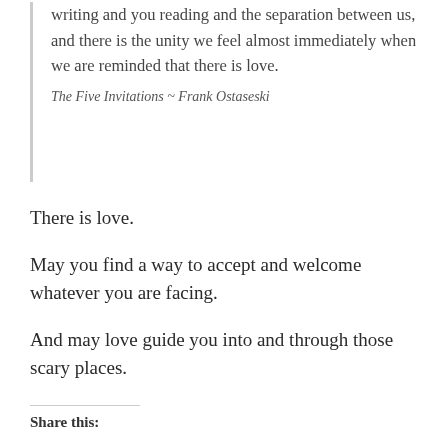writing and you reading and the separation between us, and there is the unity we feel almost immediately when we are reminded that there is love.

The Five Invitations ~ Frank Ostaseski
There is love.
May you find a way to accept and welcome whatever you are facing.
And may love guide you into and through those scary places.
Share this: